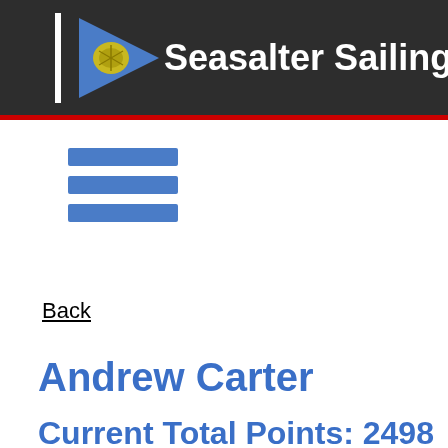[Figure (logo): Seasalter Sailing Club header with logo pennant flag and club name text on dark background]
[Figure (other): Hamburger menu icon made of three horizontal blue bars]
Back
Andrew Carter
Current Total Points: 2498